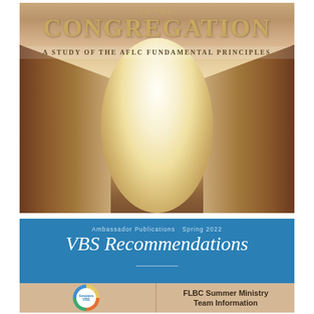[Figure (photo): Book cover showing a blurred church interior with wooden pews and aisle, with text overlay reading 'IN THE CONGREGATION - A STUDY OF THE AFLC FUNDAMENTAL PRINCIPLES']
IN THE CONGREGATION
A STUDY OF THE AFLC FUNDAMENTAL PRINCIPLES
[Figure (photo): Publication cover for 'Ambassador Publications Spring 2022 VBS Recommendations' with blue header and tan lower section showing AnswersVBS logo and FLBC Summer Ministry Team Information text]
Ambassador Publications  Spring 2022
VBS Recommendations
FLBC Summer Ministry Team Information